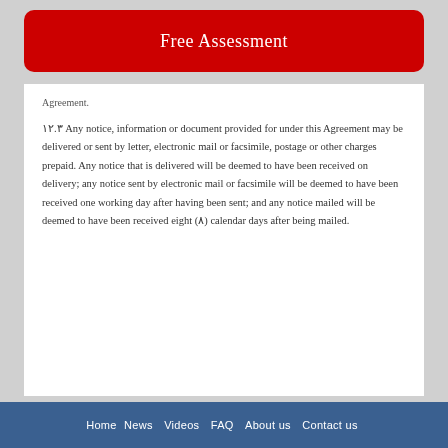Free Assessment
Agreement.
۱۲.۳ Any notice, information or document provided for under this Agreement may be delivered or sent by letter, electronic mail or facsimile, postage or other charges prepaid. Any notice that is delivered will be deemed to have been received on delivery; any notice sent by electronic mail or facsimile will be deemed to have been received one working day after having been sent; and any notice mailed will be deemed to have been received eight (۸) calendar days after being mailed.
Home News Videos FAQ About us Contact us